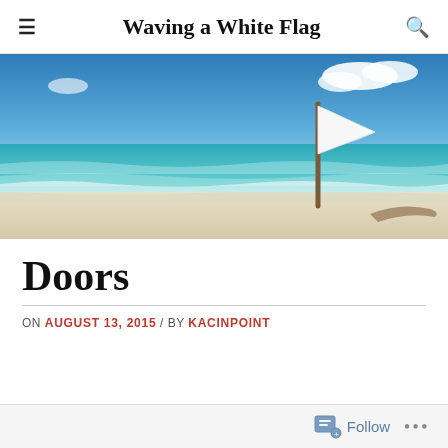≡  Waving a White Flag  🔍
[Figure (photo): A white flag on a wooden pole planted in a white sandy beach, with turquoise ocean water and blue sky with clouds in the background.]
Doors
ON AUGUST 13, 2015 / BY KACINPOINT
Follow ...